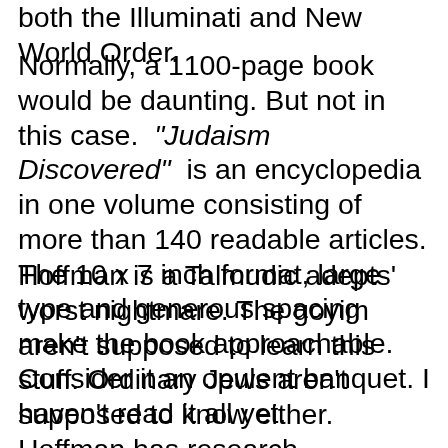both the Illuminati and New World Order.
Normally, a 1100-page book would be daunting. But not in this case. "Judaism Discovered" is an encyclopedia in one volume consisting of more than 140 readable articles. The 10 x 7 inch format, large type and generous spacing make the book approachable. Consider it an opulent banquet. I haven't read it all yet.
Hoffman is a Talmudic adepts' worst nightmare. The goyim aren't supposed to learn this stuff. Ordinary Jews aren't supposed to know either. Hoffman has research assistants, some of whom are Jews, who read Hebrew, Yiddish, Aramaic and German. He is a brilliant scholar and an